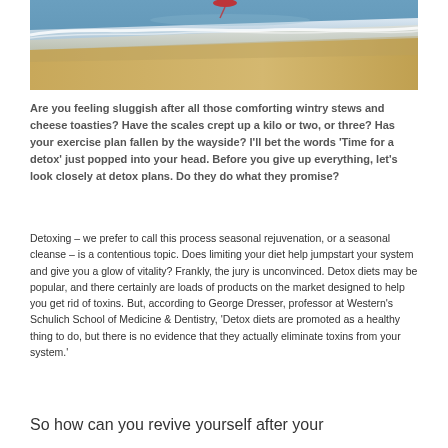[Figure (photo): Beach scene with waves, sand, and blue water viewed at an angle]
Are you feeling sluggish after all those comforting wintry stews and cheese toasties? Have the scales crept up a kilo or two, or three? Has your exercise plan fallen by the wayside? I'll bet the words 'Time for a detox' just popped into your head. Before you give up everything, let's look closely at detox plans. Do they do what they promise?
Detoxing – we prefer to call this process seasonal rejuvenation, or a seasonal cleanse – is a contentious topic. Does limiting your diet help jumpstart your system and give you a glow of vitality? Frankly, the jury is unconvinced. Detox diets may be popular, and there certainly are loads of products on the market designed to help you get rid of toxins. But, according to George Dresser, professor at Western's Schulich School of Medicine & Dentistry, 'Detox diets are promoted as a healthy thing to do, but there is no evidence that they actually eliminate toxins from your system.'
So how can you revive yourself after your